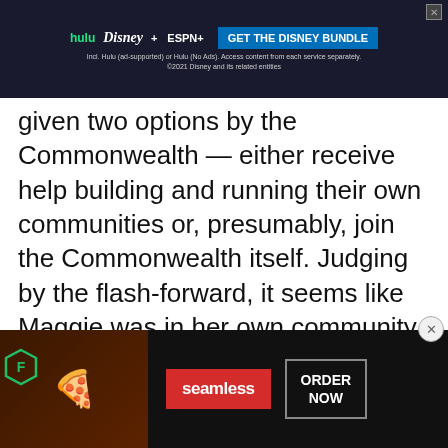[Figure (screenshot): Disney Bundle advertisement banner at top: Hulu, Disney+, ESPN+ logos with 'GET THE DISNEY BUNDLE' CTA button. Fine print about Hulu ad-supported or no ads access.]
given two options by the Commonwealth — either receive help building and running their own communities or, presumably, join the Commonwealth itself. Judging by the flash-forward, it seems like Maggie was in her own community, and Daryl, of all people, had signed up.
Obviously, at some point the Commonwealth are going to be exposed as villains, so is Daryl doing the whole double agent thing again? Or has
this point.
[Figure (screenshot): Seamless food delivery advertisement banner at bottom with pizza image, Seamless red logo, and ORDER NOW button.]